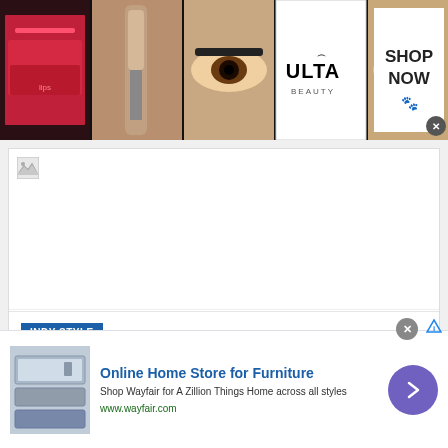[Figure (photo): Ulta Beauty advertisement banner showing beauty images (lips with red lipstick, makeup brush, eye with dramatic makeup, Ulta logo, eye close-up) with 'SHOP NOW' call to action button]
[Figure (other): Broken image placeholder icon in white rectangle area]
INDY STYLE
Faith leaders hold demonstration downtown for r...
[Figure (photo): Wayfair advertisement showing furniture/appliances image with text 'Online Home Store for Furniture', 'Shop Wayfair for A Zillion Things Home across all styles', 'www.wayfair.com' and a purple arrow button]